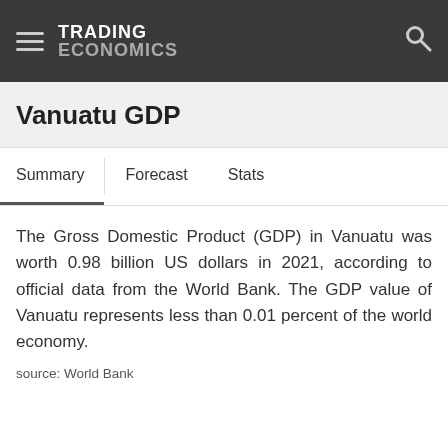TRADING ECONOMICS
Vanuatu GDP
Summary  Forecast  Stats
The Gross Domestic Product (GDP) in Vanuatu was worth 0.98 billion US dollars in 2021, according to official data from the World Bank. The GDP value of Vanuatu represents less than 0.01 percent of the world economy.
source: World Bank